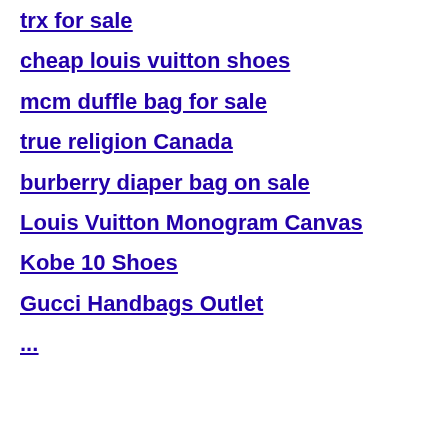trx for sale
cheap louis vuitton shoes
mcm duffle bag for sale
true religion Canada
burberry diaper bag on sale
Louis Vuitton Monogram Canvas
Kobe 10 Shoes
Gucci Handbags Outlet
...